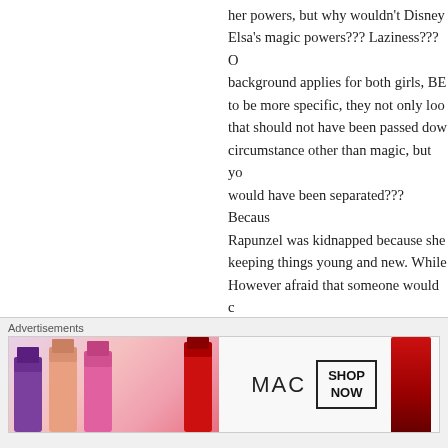her powers, but why wouldn't Disney give Elsa's magic powers??? Laziness??? Or background applies for both girls, BE... to be more specific, they not only loo... that should not have been passed dow... circumstance other than magic, but yo... would have been separated??? Becaus... Rapunzel was kidnapped because she... keeping things young and new. While... However afraid that someone would c... another land. That would 1- explain w... many years. To keep the one who kid... finding out the twin sister had magic...
★ Like
Advertisements
[Figure (photo): MAC cosmetics advertisement banner with lipsticks and 'SHOP NOW' call to action]